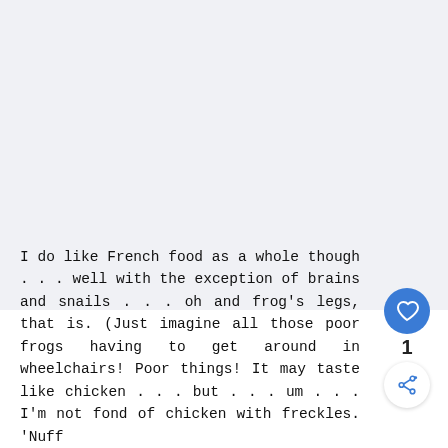[Figure (photo): Large image area (appears mostly light gray/white, content not fully visible — screenshot of a book page or app view with light background)]
I do like French food as a whole though . . . well with the exception of brains and snails . . . oh and frog's legs, that is. (Just imagine all those poor frogs having to get around in wheelchairs! Poor things! It may taste like chicken . . . but . . . um . . . I'm not fond of chicken with freckles. 'Nuff